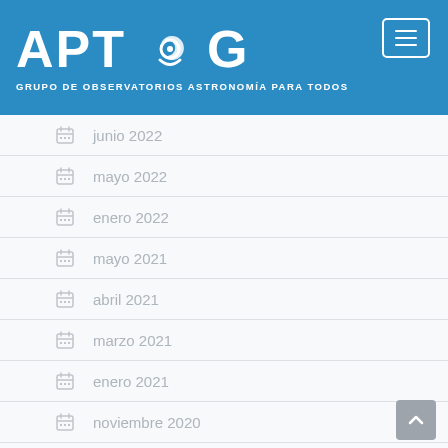[Figure (logo): APTOG logo with text 'GRUPO DE OBSERVATORIOS ASTRONOMÍA PARA TODOS' on blue background]
junio 2022
mayo 2022
enero 2022
mayo 2021
abril 2021
marzo 2021
enero 2021
noviembre 2020
septiembre 2020